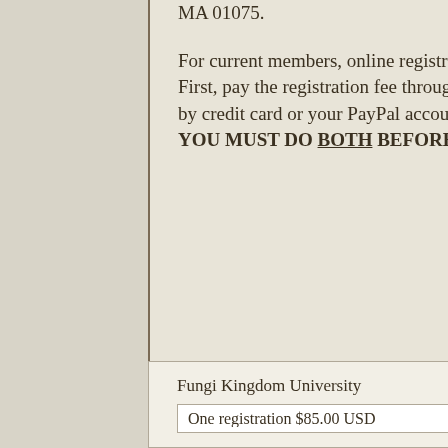MA 01075.
For current members, online registration for the workshop series is a two-step process. First, pay the registration fee through the PayPal link below (you can use this link to pay by credit card or your PayPal account). Then fill out the registration form and submit. YOU MUST DO BOTH BEFORE YOUR REGISTRATION IS COMPLETE.
| Fungi Kingdom University |
| One registration $85.00 USD |